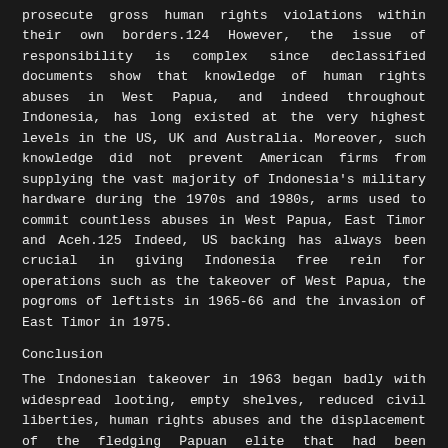prosecute gross human rights violations within their own borders.124 However, the issue of responsibility is complex since declassified documents show that knowledge of human rights abuses in West Papua, and indeed throughout Indonesia, has long existed at the very highest levels in the US, UK and Australia. Moreover, such knowledge did not prevent American firms from supplying the vast majority of Indonesia's military hardware during the 1970s and 1980s, arms used to commit countless abuses in West Papua, East Timor and Aceh.125 Indeed, US backing has always been crucial in giving Indonesia free rein for operations such as the takeover of West Papua, the pogroms of leftists in 1965-66 and the invasion of East Timor in 1975.
Conclusion
The Indonesian takeover in 1963 began badly with widespread looting, empty shelves, reduced civil liberties, human rights abuses and the displacement of the fledging Papuan elite that had been preparing to rule an independent West Papua. Since then the main drivers of the indigenous secession movement in West Papua have been historical memory of these independence preparations; a perceived lack of economic opportunities within a booming resource-based economy; resentment over the large-scale migration of Indonesian settlers; and